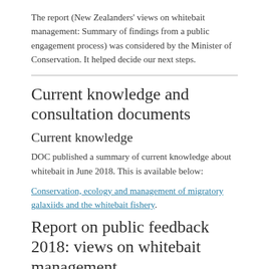The report (New Zealanders' views on whitebait management: Summary of findings from a public engagement process) was considered by the Minister of Conservation. It helped decide our next steps.
Current knowledge and consultation documents
Current knowledge
DOC published a summary of current knowledge about whitebait in June 2018. This is available below:
Conservation, ecology and management of migratory galaxiids and the whitebait fishery.
Report on public feedback 2018: views on whitebait management